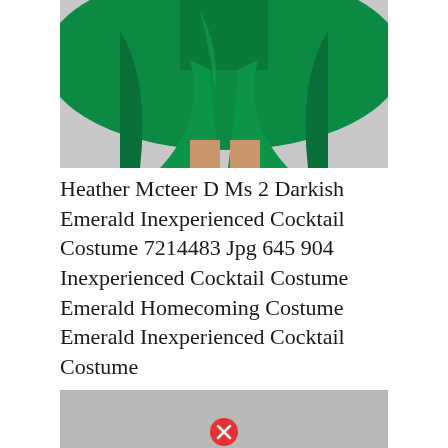[Figure (photo): Bottom portion of a green emerald cocktail dress with a flared skirt, showing the model's legs. The dress is a rich emerald/dark green color against a light gray background.]
Heather Mcteer D Ms 2 Darkish Emerald Inexperienced Cocktail Costume 7214483 Jpg 645 904 Inexperienced Cocktail Costume Emerald Homecoming Costume Emerald Inexperienced Cocktail Costume
[Figure (photo): A gray/broken image placeholder with a red circle X icon at the bottom center, indicating a failed image load.]